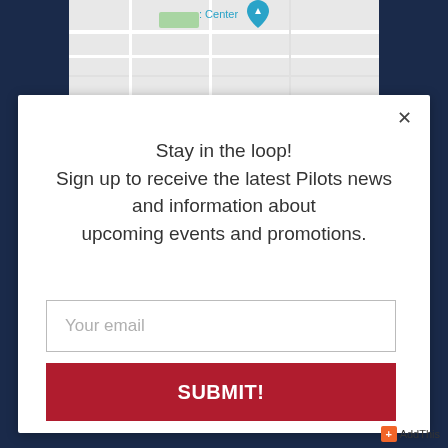[Figure (map): Top portion of a street map showing grid roads, a green area, 'Center' label in teal, and a blue map pin marker]
Stay in the loop!
Sign up to receive the latest Pilots news and information about upcoming events and promotions.
Your email
SUBMIT!
AddThis